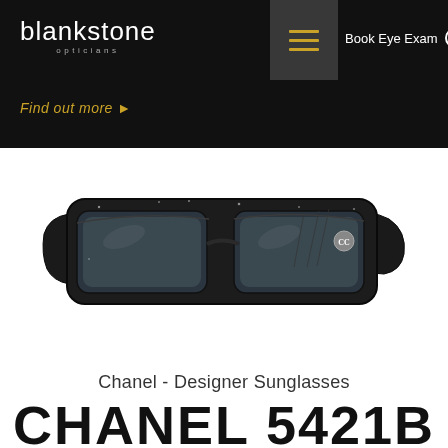blankstone opticians
Find out more →
Book Eye Exam ⊙
[Figure (photo): Black Chanel designer sunglasses with quilted temple arms and Chanel logo medallion, displayed on white background]
Chanel - Designer Sunglasses
CHANEL 5421B